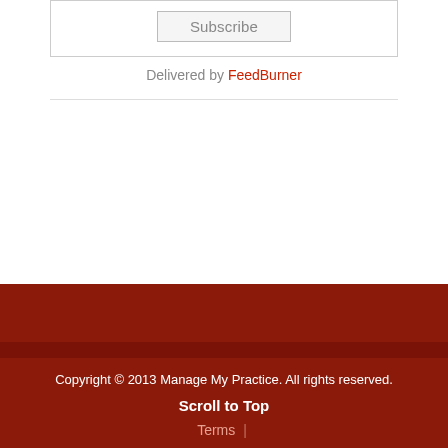Subscribe
Delivered by FeedBurner
Copyright © 2013 Manage My Practice. All rights reserved.
Scroll to Top
Terms |